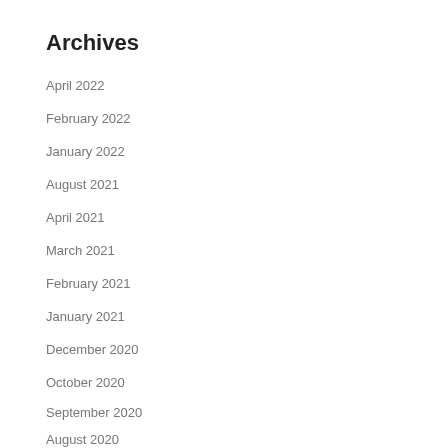Archives
April 2022
February 2022
January 2022
August 2021
April 2021
March 2021
February 2021
January 2021
December 2020
October 2020
September 2020
August 2020
July 2020